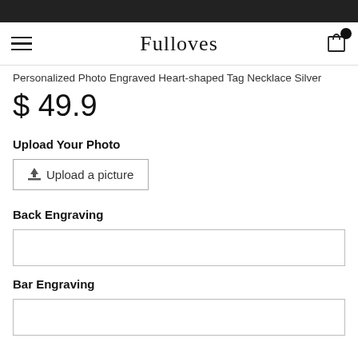Fulloves
Personalized Photo Engraved Heart-shaped Tag Necklace Silver
$ 49.9
Upload Your Photo
Upload a picture
Back Engraving
Bar Engraving